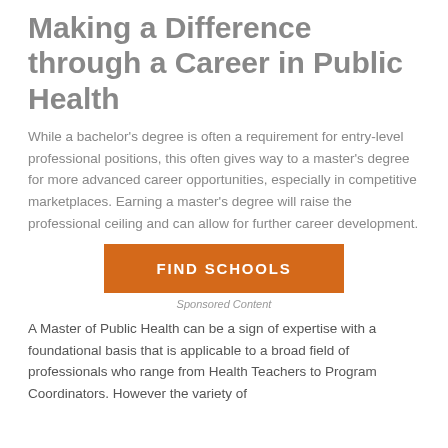Making a Difference through a Career in Public Health
While a bachelor's degree is often a requirement for entry-level professional positions, this often gives way to a master's degree for more advanced career opportunities, especially in competitive marketplaces. Earning a master's degree will raise the professional ceiling and can allow for further career development.
[Figure (other): Orange button labeled FIND SCHOOLS with 'Sponsored Content' text below]
Sponsored Content
A Master of Public Health can be a sign of expertise with a foundational basis that is applicable to a broad field of professionals who range from Health Teachers to Program Coordinators. However the variety of